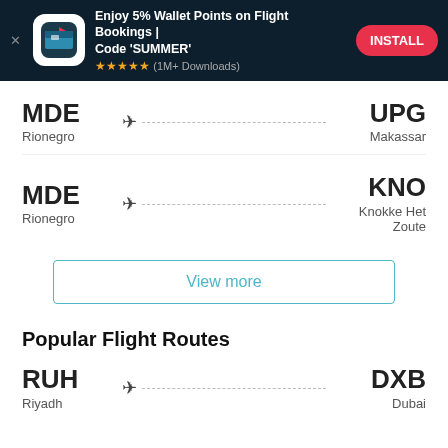[Figure (infographic): Ad banner: Enjoy 5% Wallet Points on Flight Bookings | Code 'SUMMER' with app icon, 5 stars, (1M+ Downloads), and INSTALL button]
MDE
Rionegro → UPG
Makassar
MDE
Rionegro → KNO
Knokke Het Zoute
View more
Popular Flight Routes
RUH
Riyadh → DXB
Dubai